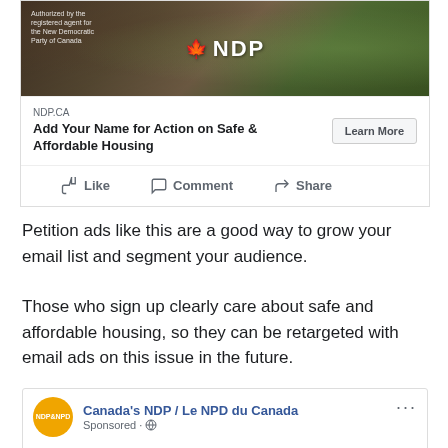[Figure (screenshot): Facebook ad from Canada's NDP showing NDP banner with logo, card with title 'Add Your Name for Action on Safe & Affordable Housing', Like/Comment/Share buttons, and a second NDP post preview at the bottom]
Petition ads like this are a good way to grow your email list and segment your audience.
Those who sign up clearly care about safe and affordable housing, so they can be retargeted with email ads on this issue in the future.
We have a housing crisis in Canada. As housing costs skyrocket, patchwork solutions are failing too many Canadians. For more, you can see people sharing housing...